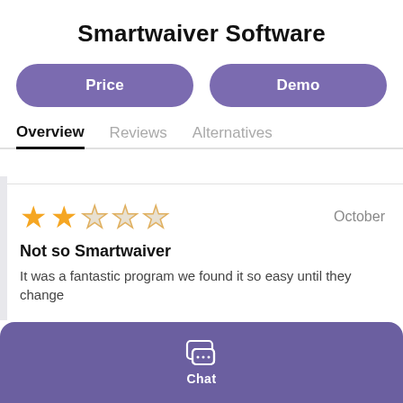Smartwaiver Software
Price
Demo
Overview
Reviews
Alternatives
[Figure (other): Star rating: 2 out of 5 filled orange stars, 3 empty stars]
October
Not so Smartwaiver
It was a fantastic program we found it so easy until they change
Chat